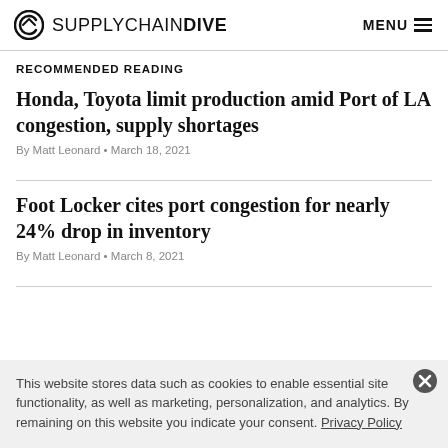SUPPLYCHAINDIVE   MENU
RECOMMENDED READING
Honda, Toyota limit production amid Port of LA congestion, supply shortages
By Matt Leonard • March 18, 2021
Foot Locker cites port congestion for nearly 24% drop in inventory
By Matt Leonard • March 8, 2021
This website stores data such as cookies to enable essential site functionality, as well as marketing, personalization, and analytics. By remaining on this website you indicate your consent. Privacy Policy